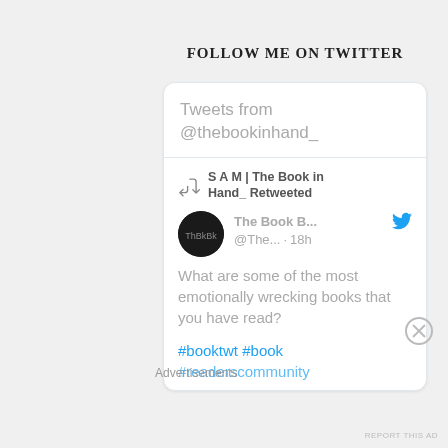FOLLOW ME ON TWITTER
[Figure (screenshot): Twitter widget showing tweets from @thebookinhand_, with a retweet by S A M | The Book in Hand_ and a tweet from The Book B... @The... 18h asking 'What are some of the most emotionally wrecking books that you have read?' with hashtags #booktwt #book #readerscommunity]
Advertisements